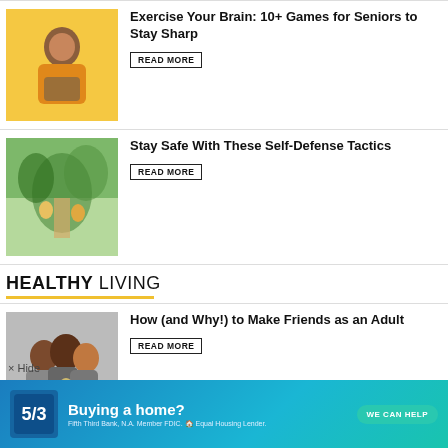[Figure (photo): Senior man in yellow sweater holding tablet, yellow background]
Exercise Your Brain: 10+ Games for Seniors to Stay Sharp
READ MORE
[Figure (photo): Two people walking on a tree-lined path, one in yellow outfit]
Stay Safe With These Self-Defense Tactics
READ MORE
HEALTHY LIVING
[Figure (photo): Group of friends laughing and toasting drinks outdoors]
How (and Why!) to Make Friends as an Adult
READ MORE
[Figure (photo): Watermelon slices, juice and heart-shaped watermelon on green table]
Fresh Summer Staple: 8 Creative Ways to Use Watermelon
READ MORE
× Hide
[Figure (other): Advertisement banner: Fifth Third Bank - Buying a home? WE CAN HELP. Fifth Third Bank, N.A. Member FDIC. Equal Housing Lender.]